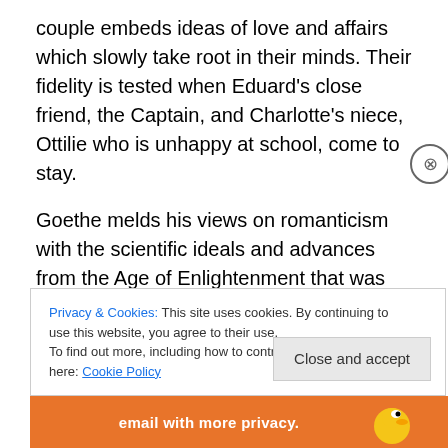couple embeds ideas of love and affairs which slowly take root in their minds. Their fidelity is tested when Eduard's close friend, the Captain, and Charlotte's niece, Ottilie who is unhappy at school, come to stay.
Goethe melds his views on romanticism with the scientific ideals and advances from the Age of Enlightenment that was fashionable in 19th century Europe to create a story which mirrors science. Elective affinities, a concept in chemistry where elements naturally gravitate towards their optimal counterpart, is used here to illustrate the romantic
Privacy & Cookies: This site uses cookies. By continuing to use this website, you agree to their use.
To find out more, including how to control cookies, see here: Cookie Policy
Close and accept
email with more privacy.